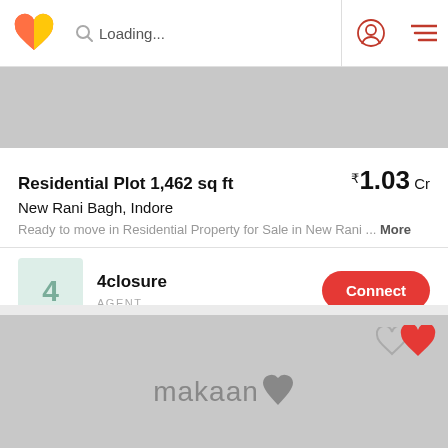Loading...
[Figure (photo): Grey image placeholder for property listing photo]
Residential Plot 1,462 sq ft
₹1.03 Cr
New Rani Bagh, Indore
Ready to move in Residential Property for Sale in New Rani ... More
4closure
AGENT
[Figure (photo): Grey image placeholder for second property listing with makaan watermark logo and heart icons]